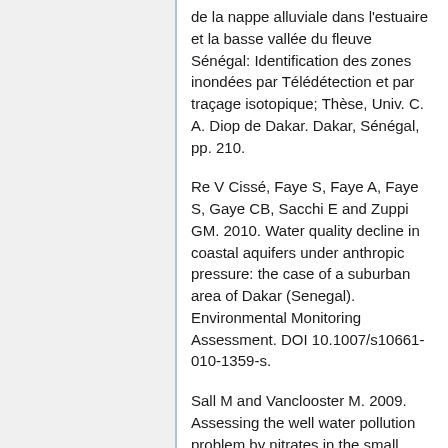de la nappe alluviale dans l'estuaire et la basse vallée du fleuve Sénégal: Identification des zones inondées par Télédétection et par traçage isotopique; Thèse, Univ. C. A. Diop de Dakar. Dakar, Sénégal, pp. 210.
Re V Cissé, Faye S, Faye A, Faye S, Gaye CB, Sacchi E and Zuppi GM. 2010. Water quality decline in coastal aquifers under anthropic pressure: the case of a suburban area of Dakar (Senegal). Environmental Monitoring Assessment. DOI 10.1007/s10661-010-1359-s.
Sall M and Vanclooster M. 2009. Assessing the well water pollution problem by nitrates in the small scale farming systems of the Niayes region (Senegal). Agricultural Water